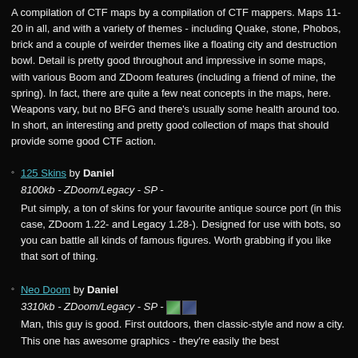A compilation of CTF maps by a compilation of CTF mappers. Maps 11-20 in all, and with a variety of themes - including Quake, stone, Phobos, brick and a couple of weirder themes like a floating city and destruction bowl. Detail is pretty good throughout and impressive in some maps, with various Boom and ZDoom features (including a friend of mine, the spring). In fact, there are quite a few neat concepts in the maps, here. Weapons vary, but no BFG and there's usually some health around too. In short, an interesting and pretty good collection of maps that should provide some good CTF action.
125 Skins by Daniel
8100kb - ZDoom/Legacy - SP -
Put simply, a ton of skins for your favourite antique source port (in this case, ZDoom 1.22- and Legacy 1.28-). Designed for use with bots, so you can battle all kinds of famous figures. Worth grabbing if you like that sort of thing.
Neo Doom by Daniel
3310kb - ZDoom/Legacy - SP -
Man, this guy is good. First outdoors, then classic-style and now a city. This one has awesome graphics - they're easily the best